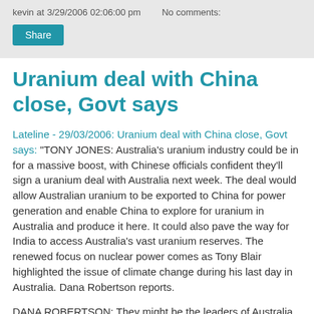kevin at 3/29/2006 02:06:00 pm   No comments:
Share
Uranium deal with China close, Govt says
Lateline - 29/03/2006: Uranium deal with China close, Govt says: "TONY JONES: Australia's uranium industry could be in for a massive boost, with Chinese officials confident they'll sign a uranium deal with Australia next week. The deal would allow Australian uranium to be exported to China for power generation and enable China to explore for uranium in Australia and produce it here. It could also pave the way for India to access Australia's vast uranium reserves. The renewed focus on nuclear power comes as Tony Blair highlighted the issue of climate change during his last day in Australia. Dana Robertson reports.
DANA ROBERTSON: They might be the leaders of Australia